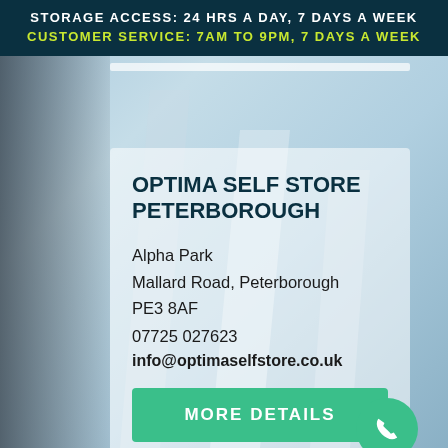STORAGE ACCESS: 24 HRS A DAY, 7 DAYS A WEEK
CUSTOMER SERVICE: 7AM TO 9PM, 7 DAYS A WEEK
OPTIMA SELF STORE PETERBOROUGH
Alpha Park
Mallard Road, Peterborough
PE3 8AF
07725 027623
info@optimaselfstore.co.uk
MORE DETAILS